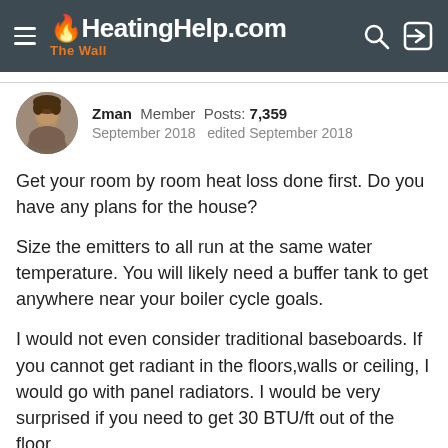HeatingHelp.com — The Wall
Zman  Member  Posts: 7,359
September 2018  edited September 2018
Get your room by room heat loss done first. Do you have any plans for the house?
Size the emitters to all run at the same water temperature. You will likely need a buffer tank to get anywhere near your boiler cycle goals.
I would not even consider traditional baseboards. If you cannot get radiant in the floors,walls or ceiling, I would go with panel radiators. I would be very surprised if you need to get 30 BTU/ft out of the floor.